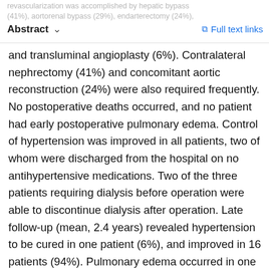Abstract  ∨    ↗ Full text links
revascularization was accomplished by hepatic bypass (41%), aortorenal bypass (29%), endarterectomy (24%), and transluminal angioplasty (6%). Contralateral nephrectomy (41%) and concomitant aortic reconstruction (24%) were also required frequently. No postoperative deaths occurred, and no patient had early postoperative pulmonary edema. Control of hypertension was improved in all patients, two of whom were discharged from the hospital on no antihypertensive medications. Two of the three patients requiring dialysis before operation were able to discontinue dialysis after operation. Late follow-up (mean, 2.4 years) revealed hypertension to be cured in one patient (6%), and improved in 16 patients (94%). Pulmonary edema occurred in one patient during late follow-up. Late follow-up showed renal function (mean creatinine, 1.7 mg/dl) to be improved in 77%, stable in 12%, and worse in two patients; one required dialysis. A single episode of pulmonary edema in a patient with poorly controlled